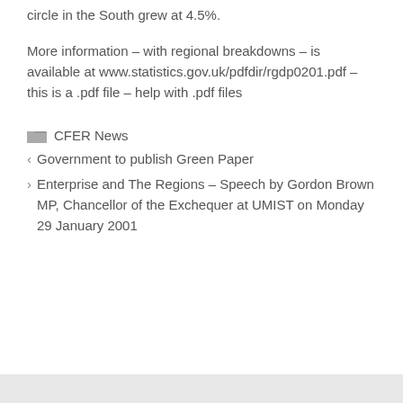circle in the South grew at 4.5%.
More information – with regional breakdowns – is available at www.statistics.gov.uk/pdfdir/rgdp0201.pdf – this is a .pdf file – help with .pdf files
CFER News
Government to publish Green Paper
Enterprise and The Regions – Speech by Gordon Brown MP, Chancellor of the Exchequer at UMIST on Monday 29 January 2001